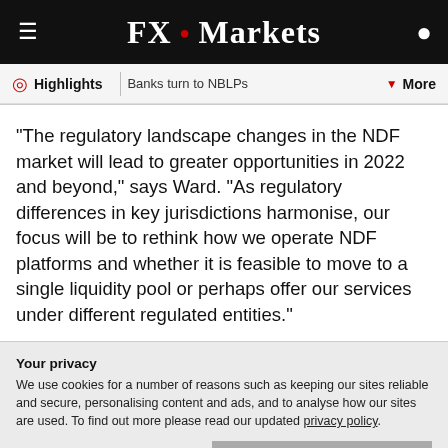FX · Markets
Highlights | Banks turn to NBLPs | More
“The regulatory landscape changes in the NDF market will lead to greater opportunities in 2022 and beyond,” says Ward. “As regulatory differences in key jurisdictions harmonise, our focus will be to rethink how we operate NDF platforms and whether it is feasible to move to a single liquidity pool or perhaps offer our services under different regulated entities.”
Your privacy
We use cookies for a number of reasons such as keeping our sites reliable and secure, personalising content and ads, and to analyse how our sites are used. To find out more please read our updated privacy policy.
ACCEPT AND CONTINUE